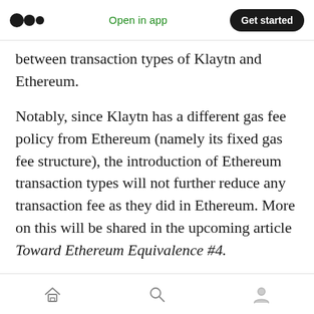Medium logo | Open in app | Get started
between transaction types of Klaytn and Ethereum.
Notably, since Klaytn has a different gas fee policy from Ethereum (namely its fixed gas fee structure), the introduction of Ethereum transaction types will not further reduce any transaction fee as they did in Ethereum. More on this will be shared in the upcoming article Toward Ethereum Equivalence #4.
Temporary Test Network for v1.8.0
We are excited to present our test network for
Home | Search | Profile